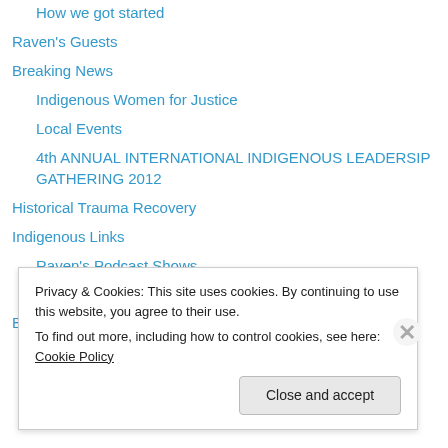How we got started
Raven's Guests
Breaking News
Indigenous Women for Justice
Local Events
4th ANNUAL INTERNATIONAL INDIGENOUS LEADERSIP GATHERING 2012
Historical Trauma Recovery
Indigenous Links
Raven's Podcast Shows
More Podcasts
Raven Productions
Bones Media
Privacy & Cookies: This site uses cookies. By continuing to use this website, you agree to their use.
To find out more, including how to control cookies, see here: Cookie Policy
Close and accept